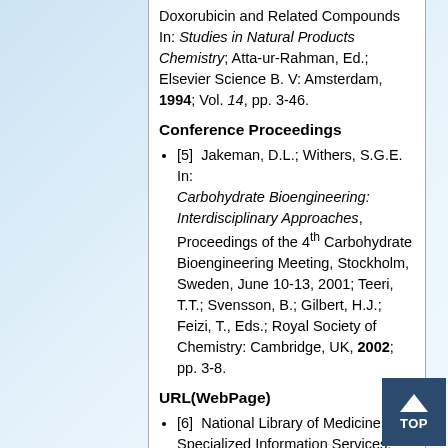Doxorubicin and Related Compounds In: Studies in Natural Products Chemistry; Atta-ur-Rahman, Ed.; Elsevier Science B. V: Amsterdam, 1994; Vol. 14, pp. 3-46.
Conference Proceedings
[5]  Jakeman, D.L.; Withers, S.G.E. In: Carbohydrate Bioengineering: Interdisciplinary Approaches, Proceedings of the 4th Carbohydrate Bioengineering Meeting, Stockholm, Sweden, June 10-13, 2001; Teeri, T.T.; Svensson, B.; Gilbert, H.J.; Feizi, T., Eds.; Royal Society of Chemistry: Cambridge, UK, 2002; pp. 3-8.
URL(WebPage)
[6]  National Library of Medicine. Specialized Information Services: Toxicology and Environmental Health. sis.nlm.nih.gov/Tox/ToxMain.html (Accessed May 30, 2004).